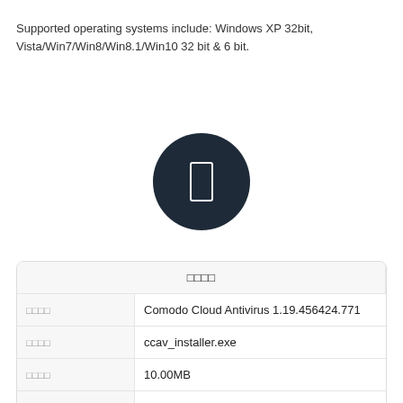Supported operating systems include: Windows XP 32bit, Vista/Win7/Win8/Win8.1/Win10 32 bit & 6 bit.
[Figure (illustration): Dark circular icon button with a white rounded rectangle shape in the center, resembling a pause or stop button.]
| □□□□ |
| --- |
| □□□□ | Comodo Cloud Antivirus 1.19.456424.771 |
| □□□□ | ccav_installer.exe |
| □□□□ | 10.00MB |
| □□ | Windows (All Versions) |